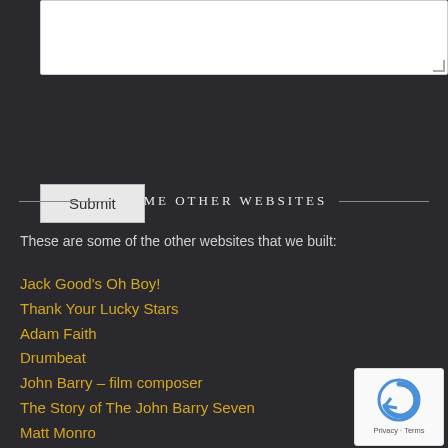[Figure (screenshot): White textarea input box with resize handle]
Submit
SOME OTHER WEBSITES
These are some of the other websites that we built:
Jack Good's Oh Boy!
Thank Your Lucky Stars
Adam Faith
Drumbeat
John Barry – film composer
The Story of The John Barry Seven
Matt Monro
[Figure (logo): reCAPTCHA badge with Privacy and Terms links]